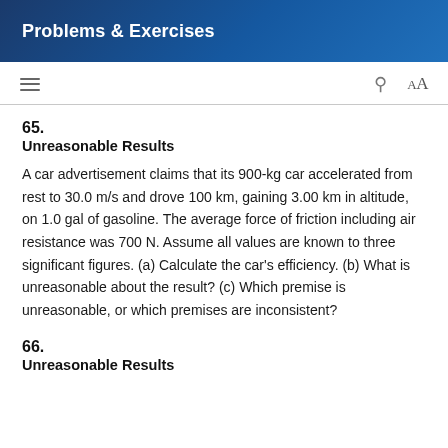Problems & Exercises
65.
Unreasonable Results
A car advertisement claims that its 900-kg car accelerated from rest to 30.0 m/s and drove 100 km, gaining 3.00 km in altitude, on 1.0 gal of gasoline. The average force of friction including air resistance was 700 N. Assume all values are known to three significant figures. (a) Calculate the car's efficiency. (b) What is unreasonable about the result? (c) Which premise is unreasonable, or which premises are inconsistent?
66.
Unreasonable Results